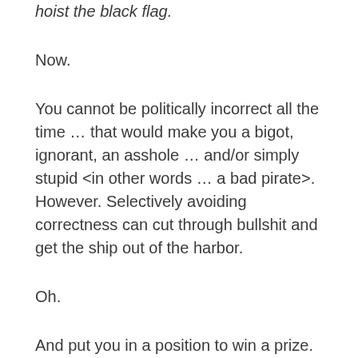hoist the black flag.
Now.
You cannot be politically incorrect all the time … that would make you a bigot, ignorant, an asshole … and/or simply stupid <in other words … a bad pirate>. However. Selectively avoiding correctness can cut through bullshit and get the ship out of the harbor.
Oh.
And put you in a position to win a prize.